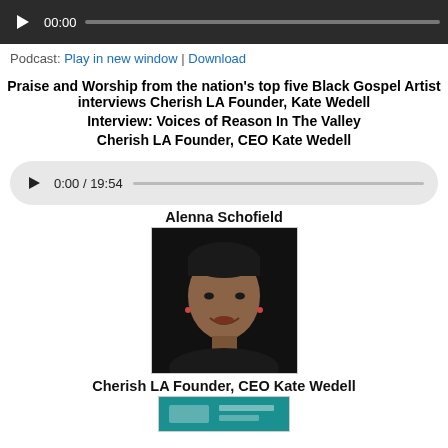[Figure (other): Audio player bar with play button, 00:00 timestamp, and progress bar on dark background]
Podcast: Play in new window | Download
Praise and Worship from the nation's top five Black Gospel Artist interviews Cherish LA Founder, Kate Wedell
Interview: Voices of Reason In The Valley
Cherish LA Founder, CEO Kate Wedell
[Figure (other): Audio player with play button, time display 0:00 / 19:54, and progress bar on light gray rounded background]
Alenna Schofield
[Figure (photo): Headshot photo of a woman with dark hair pulled back, smiling, against a black background]
Cherish LA Founder, CEO Kate Wedell
[Figure (photo): Partial view of a teal/turquoise colored image at the bottom of the page]